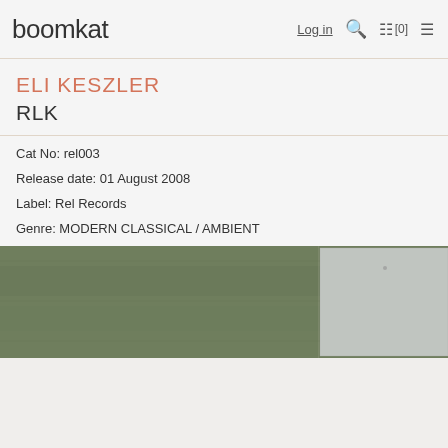boomkat  Log in  [0]
ELI KESZLER
RLK
Cat No: rel003
Release date: 01 August 2008
Label: Rel Records
Genre: MODERN CLASSICAL / AMBIENT
[Figure (photo): Album cover photo showing a green/olive colored textured surface (possibly fabric or felt) with a silver/gray rectangular label or tape visible on the right side]